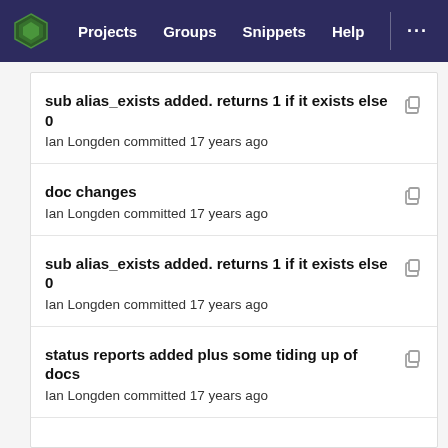Projects   Groups   Snippets   Help   ...
sub alias_exists added. returns 1 if it exists else 0
Ian Longden committed 17 years ago
doc changes
Ian Longden committed 17 years ago
sub alias_exists added. returns 1 if it exists else 0
Ian Longden committed 17 years ago
status reports added plus some tiding up of docs
Ian Longden committed 17 years ago
sub alias_exists added. returns 1 if it exists else 0
Ian Longden committed 17 years ago